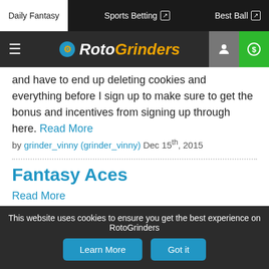Daily Fantasy | Sports Betting | Best Ball
RotoGrinders
and have to end up deleting cookies and everything before I sign up to make sure to get the bonus and incentives from signing up through here. Read More
by grinder_vinny (grinder_vinny) Dec 15th, 2015
Fantasy Aces
Read More
by grinder_vinny (grinder_vinny) Dec 15th, 2015
NBA 12/14
This website uses cookies to ensure you get the best experience on RotoGrinders